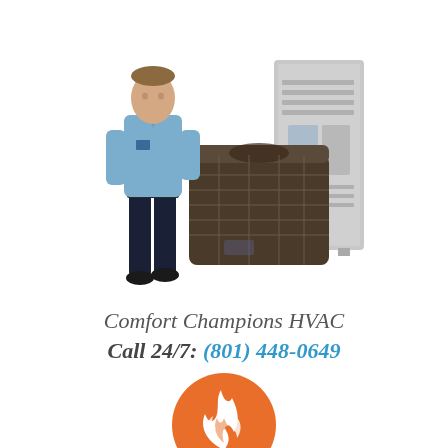[Figure (photo): HVAC technician in blue shirt standing next to two HVAC units — an outdoor condenser unit and an indoor air handler — against a white background.]
Comfort Champions HVAC
Call 24/7:  (801) 448-0649
[Figure (illustration): Orange circle icon with a white flame/fire illustration in the center, representing heating services.]